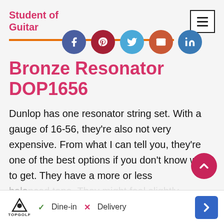Student of Guitar
Bronze Resonator DOP1656
Dunlop has one resonator string set. With a gauge of 16-56, they're also not very expensive. From what I can tell you, they're one of the best options if you don't know what to get. They have a more or less balanced tone. They might feel slightly scoo…